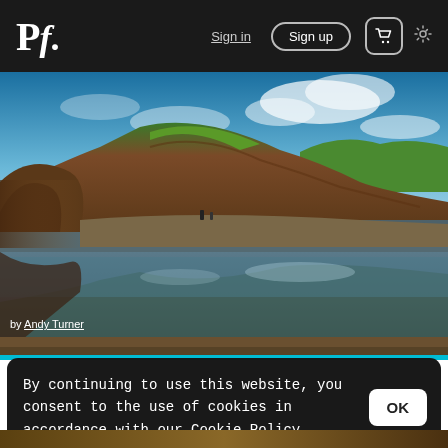Pf. | Sign in | Sign up | [cart] | [settings]
[Figure (photo): Coastal landscape photo showing red/brown cliffs with green tops, a beach with reflective wet sand/tidal pool in the foreground, and a dramatic cloudy blue sky. Two small figures visible on the beach. The scene is reflected in the water.]
by Andy Turner
By continuing to use this website, you consent to the use of cookies in accordance with our Cookie Policy.